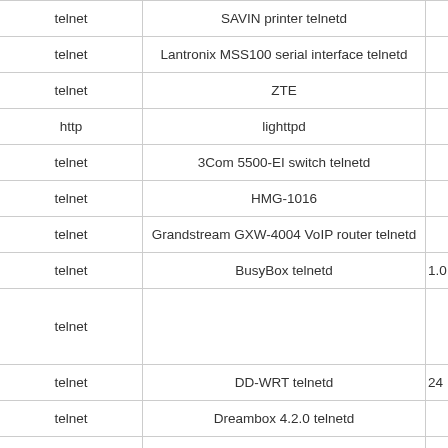| protocol | description | version |
| --- | --- | --- |
| telnet | SAVIN printer telnetd |  |
| telnet | Lantronix MSS100 serial interface telnetd |  |
| telnet | ZTE |  |
| http | lighttpd |  |
| telnet | 3Com 5500-EI switch telnetd |  |
| telnet | HMG-1016 |  |
| telnet | Grandstream GXW-4004 VoIP router telnetd |  |
| telnet | BusyBox telnetd | 1.0 |
| telnet |  |  |
| telnet | DD-WRT telnetd | 24 |
| telnet | Dreambox 4.2.0 telnetd |  |
| ssh | OpenSSH |  |
| telnet | Netopia 3347-02 wireless ADSL |  |